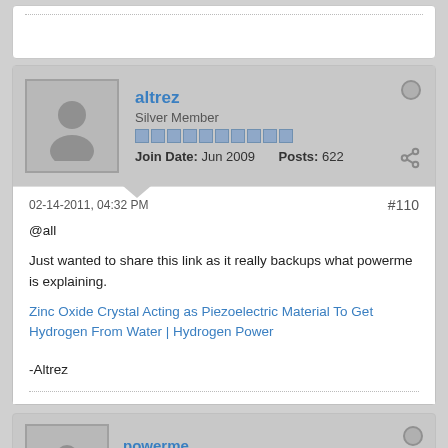altrez — Silver Member — Join Date: Jun 2009 — Posts: 622
02-14-2011, 04:32 PM  #110
@all

Just wanted to share this link as it really backups what powerme is explaining.

Zinc Oxide Crystal Acting as Piezoelectric Material To Get Hydrogen From Water | Hydrogen Power

-Altrez
powerme — Senior Member